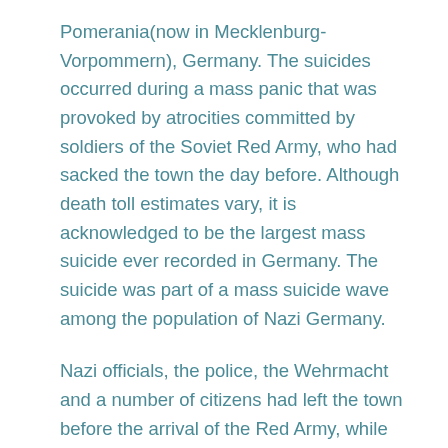Pomerania(now in Mecklenburg-Vorpommern), Germany. The suicides occurred during a mass panic that was provoked by atrocities committed by soldiers of the Soviet Red Army, who had sacked the town the day before. Although death toll estimates vary, it is acknowledged to be the largest mass suicide ever recorded in Germany. The suicide was part of a mass suicide wave among the population of Nazi Germany.
Nazi officials, the police, the Wehrmacht and a number of citizens had left the town before the arrival of the Red Army, while thousands of refugees from the East had also taken refuge in Demmin. Three Soviet negotiators were shot prior to the Soviet advance into Demmin and Hitler Youth, amongst others, fired on Soviet soldiers once inside the town. The retreating Wehrmacht had blown up the bridges over the Peene and Tollense rivers, which enclosed the town to the north, west and south, thus